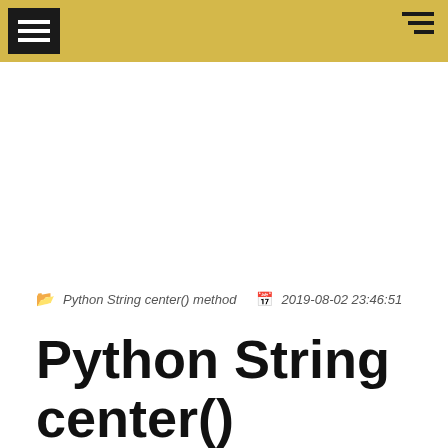menu
Python String center() method   2019-08-02 23:46:51
Python String center() method